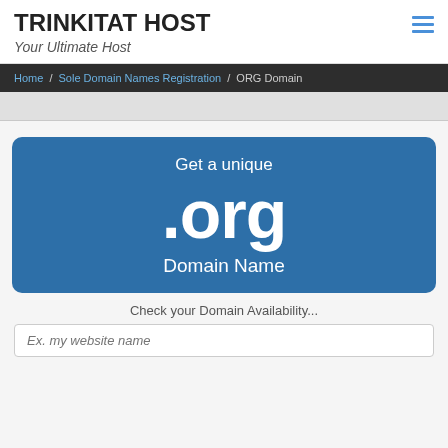TRINKITAT HOST
Your Ultimate Host
Home / Sole Domain Names Registration / ORG Domain
[Figure (infographic): Blue rounded rectangle card displaying 'Get a unique .org Domain Name']
Check your Domain Availability...
Ex. my website name